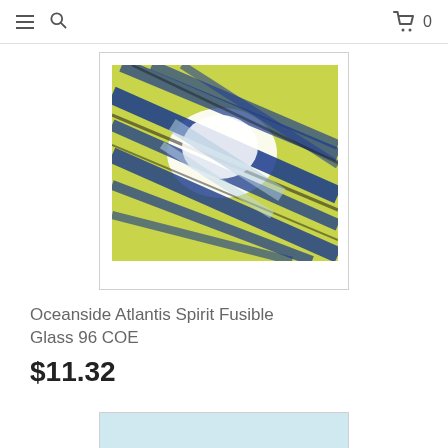≡  🔍  🛒 0
[Figure (photo): Product photo of Oceanside Atlantis Spirit Fusible Glass 96 COE — a square sheet of art glass with diagonal streaks of yellow-green, blue, and white colors.]
Oceanside Atlantis Spirit Fusible Glass 96 COE
$11.32
[Figure (photo): Partial view of another product image card at the bottom of the page, showing a light blue tinted glass sample.]